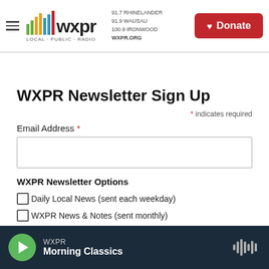WXPR LOCAL · PUBLIC · RADIO | 91.7 RHINELANDER 91.9 WAUSAU 100.9 IRONWOOD WXPR.ORG | Donate
WXPR Newsletter Sign Up
* indicates required
Email Address *
WXPR Newsletter Options
Daily Local News (sent each weekday)
WXPR News & Notes (sent monthly)
Subscribe
WXPR Morning Classics